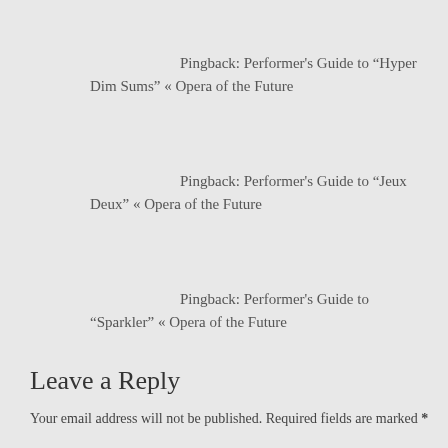Pingback: Performer's Guide to "Hyper Dim Sums" « Opera of the Future
Pingback: Performer's Guide to "Jeux Deux" « Opera of the Future
Pingback: Performer's Guide to "Sparkler" « Opera of the Future
Leave a Reply
Your email address will not be published. Required fields are marked *